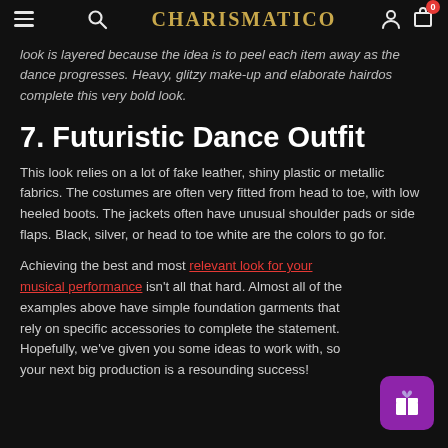CHARISMATICO
look is layered because the idea is to peel each item away as the dance progresses. Heavy, glitzy make-up and elaborate hairdos complete this very bold look.
7. Futuristic Dance Outfit
This look relies on a lot of fake leather, shiny plastic or metallic fabrics. The costumes are often very fitted from head to toe, with low heeled boots. The jackets often have unusual shoulder pads or side flaps. Black, silver, or head to toe white are the colors to go for.
Achieving the best and most relevant look for your musical performance isn't all that hard. Almost all of the examples above have simple foundation garments that rely on specific accessories to complete the statement. Hopefully, we've given you some ideas to work with, so your next big production is a resounding success!